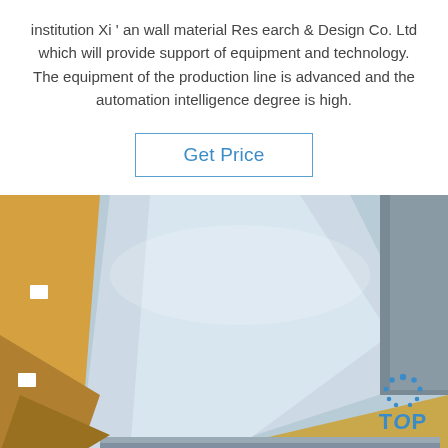institution Xi ' an wall material Res earch & Design Co. Ltd which will provide support of equipment and technology. The equipment of the production line is advanced and the automation intelligence degree is high.
Get Price
[Figure (photo): Photo of stacked metallic sheets (galvanized or aluminum sheets) partially wrapped in gold/yellow protective plastic film, with a TOP watermark logo in the bottom right corner.]